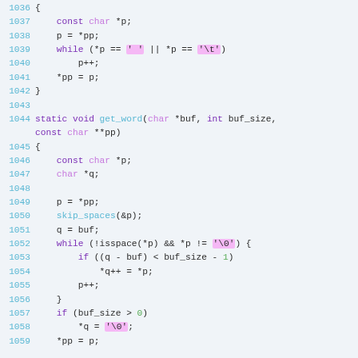[Figure (screenshot): Source code listing in C, lines 1036-1059, showing skip_spaces and get_word functions with syntax highlighting on a light blue-gray background. Line numbers in cyan/blue, keywords in purple, function calls in cyan, string/char literals highlighted in pink background, numeric literals in green.]